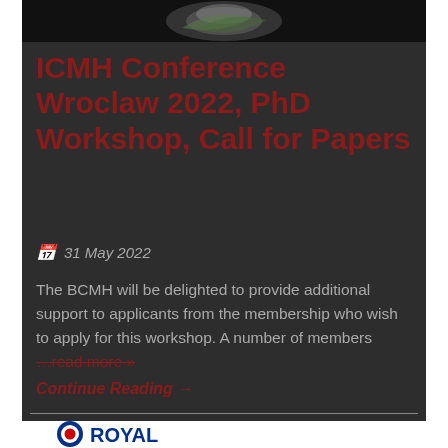[Figure (photo): Top partial image strip showing a logo or emblem on dark background]
ICMH Conference Wroclaw 2022, PhD Workshop, Call for Papers
31 May 2022
The BCMH will be delighted to provide additional support to applicants from the membership who wish to apply for this workshop. A number of members …read more »
Continue Reading →
[Figure (logo): Royal air force or organization logo with concentric circles (blue, white, red) and text ROYAL]